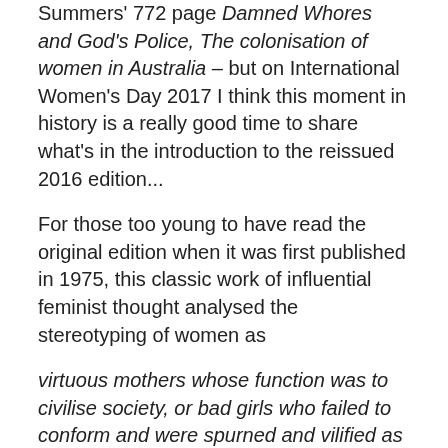Summers' 772 page Damned Whores and God's Police, The colonisation of women in Australia – but on International Women's Day 2017 I think this moment in history is a really good time to share what's in the introduction to the reissued 2016 edition...
For those too young to have read the original edition when it was first published in 1975, this classic work of influential feminist thought analysed the stereotyping of women as
virtuous mothers whose function was to civilise society, or bad girls who failed to conform and were spurned and vilified as a result.
It's a long book, even without the introductions and author's notes to successive editions in 1994 and 2002; the 'Letter to the next generation' in the 1994 edition, and 'the March of Women' in the 2002 edition and the 'Timeline